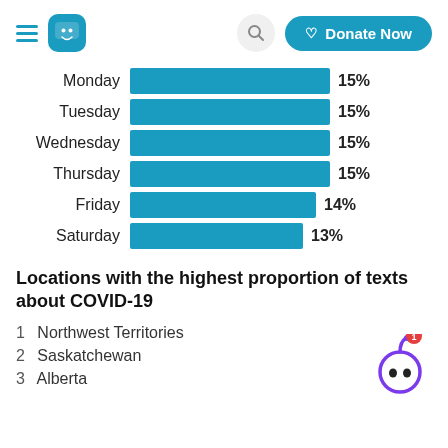Menu | Chat | Search | Donate Now
[Figure (bar-chart): ]
Locations with the highest proportion of texts about COVID-19
1  Northwest Territories
2  Saskatchewan
3  Alberta